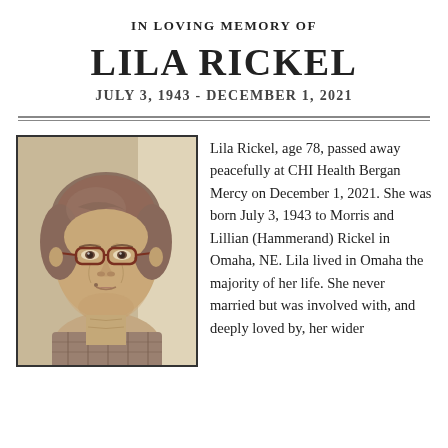IN LOVING MEMORY OF
LILA RICKEL
JULY 3, 1943 - DECEMBER 1, 2021
[Figure (photo): Portrait photo of Lila Rickel, an elderly woman with short brown-gray hair and dark red glasses, wearing a plaid shirt, photographed indoors near a window.]
Lila Rickel, age 78, passed away peacefully at CHI Health Bergan Mercy on December 1, 2021. She was born July 3, 1943 to Morris and Lillian (Hammerand) Rickel in Omaha, NE. Lila lived in Omaha the majority of her life. She never married but was involved with, and deeply loved by, her wider